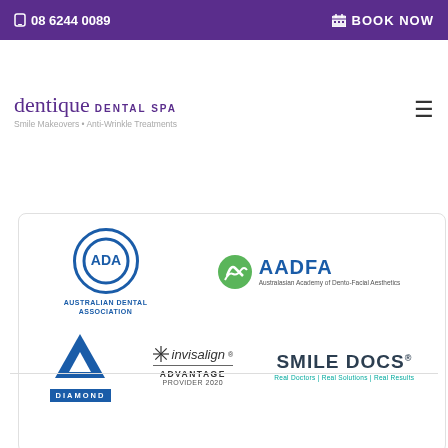08 6244 0089 | BOOK NOW
[Figure (logo): Dentique Dental Spa logo — Smile Makeovers • Anti-Wrinkle Treatments]
[Figure (logo): Association logos: Australian Dental Association (ADA), AADFA (Australasian Academy of Dento-Facial Aesthetics), Diamond Invisalign Advantage Provider 2020, Smile Docs — Real Doctors | Real Solutions | Real Results]
Mount Lawley Office
Schedule an Appointment